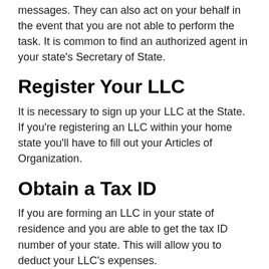messages. They can also act on your behalf in the event that you are not able to perform the task. It is common to find an authorized agent in your state's Secretary of State.
Register Your LLC
It is necessary to sign up your LLC at the State. If you're registering an LLC within your home state you'll have to fill out your Articles of Organization.
Obtain a Tax ID
If you are forming an LLC in your state of residence and you are able to get the tax ID number of your state. This will allow you to deduct your LLC's expenses.